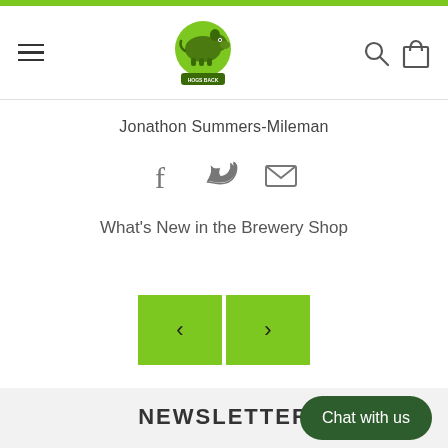Hogs Back Brewery navigation header with logo, hamburger menu, search and cart icons
Jonathon Summers-Mileman
[Figure (infographic): Social sharing icons: Facebook (f), Twitter (bird), Email (envelope)]
What's New in the Brewery Shop
[Figure (infographic): Previous and next navigation arrow buttons in green squares]
NEWSLETTER
Sign up to our newsletter to receive and offers
Chat with us